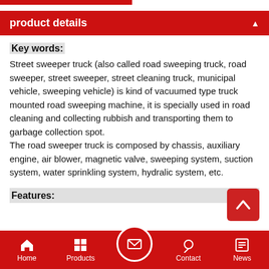product details
Key words:
Street sweeper truck (also called road sweeping truck, road sweeper, street sweeper, street cleaning truck, municipal vehicle, sweeping vehicle) is kind of vacuumed type truck mounted road sweeping machine, it is specially used in road cleaning and collecting rubbish and transporting them to garbage collection spot.
The road sweeper truck is composed by chassis, auxiliary engine, air blower, magnetic valve, sweeping system, suction system, water sprinkling system, hydralic system, etc.
Features:
Home  Products  Contact  News